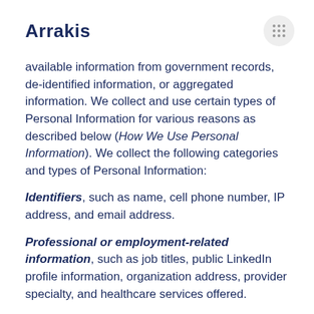Arrakis
available information from government records, de-identified information, or aggregated information. We collect and use certain types of Personal Information for various reasons as described below (How We Use Personal Information). We collect the following categories and types of Personal Information:
Identifiers, such as name, cell phone number, IP address, and email address.
Professional or employment-related information, such as job titles, public LinkedIn profile information, organization address, provider specialty, and healthcare services offered.